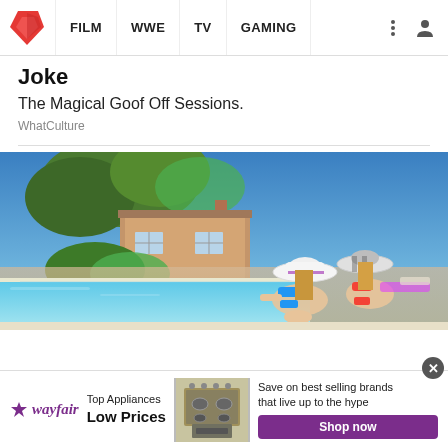FILM | WWE | TV | GAMING
Joke
The Magical Goof Off Sessions.
WhatCulture
[Figure (photo): Two women in bikinis and wide-brimmed hats crouching at the edge of a swimming pool, with a French countryside villa, trees, and blue sky in the background.]
[Figure (infographic): Wayfair advertisement banner: 'Top Appliances Low Prices' with an image of a stainless steel range/oven, and text 'Save on best selling brands that live up to the hype' with a purple 'Shop now' button.]